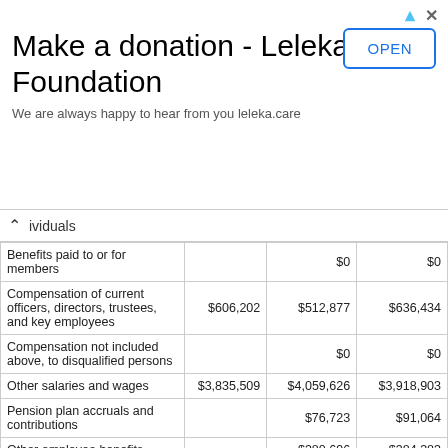[Figure (other): Advertisement banner: Make a donation - Leleka Foundation. OPEN button. Subtitle: We are always happy to hear from you leleka.care]
|  |  |  |  |
| --- | --- | --- | --- |
| individuals |  |  |  |
| Benefits paid to or for members |  | $0 | $0 |
| Compensation of current officers, directors, trustees, and key employees | $606,202 | $512,877 | $636,434 |
| Compensation not included above, to disqualified persons |  | $0 | $0 |
| Other salaries and wages | $3,835,509 | $4,059,626 | $3,918,903 |
| Pension plan accruals and contributions |  | $76,723 | $91,064 |
| Other employee benefits |  | $380,696 | $384,383 |
| Payroll taxes | $327,949 | $404,816 | $399,507 |
| Fees for services (non-employees) |  |  |  |
| Management |  | $0 | $0 |
| Legal |  | $0 | $32,546 |
| Accounting |  | $31,000 | $40,000 |